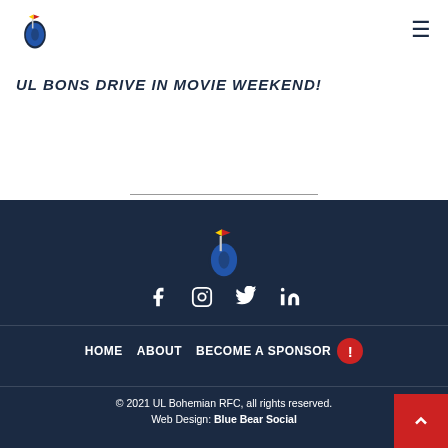UL Bohemian RFC logo and hamburger menu
UL BONS DRIVE IN MOVIE WEEKEND!
[Figure (logo): UL Bohemian RFC club logo in footer, colored rugby ball with flag]
Social media icons: Facebook, Instagram, Twitter, LinkedIn
HOME   ABOUT   BECOME A SPONSOR !
© 2021 UL Bohemian RFC, all rights reserved. Web Design: Blue Bear Social